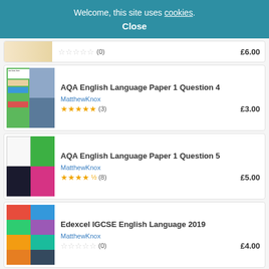Welcome, this site uses cookies. Close
[Figure (screenshot): Partial listing thumbnail for a resource, light orange/yellow background]
(0)  £6.00
[Figure (screenshot): Thumbnail for AQA English Language Paper 1 Question 4 resource, showing book covers and text]
AQA English Language Paper 1 Question 4
MatthewKnox
★★★★★ (3)  £3.00
[Figure (screenshot): Thumbnail for AQA English Language Paper 1 Question 5 resource, showing worksheets]
AQA English Language Paper 1 Question 5
MatthewKnox
★★★★½ (8)  £5.00
[Figure (screenshot): Thumbnail for Edexcel IGCSE English Language 2019 resource, colorful mind maps]
Edexcel IGCSE English Language 2019
MatthewKnox
☆☆☆☆☆ (0)  £4.00
[Figure (screenshot): Partial thumbnail visible at bottom of page]